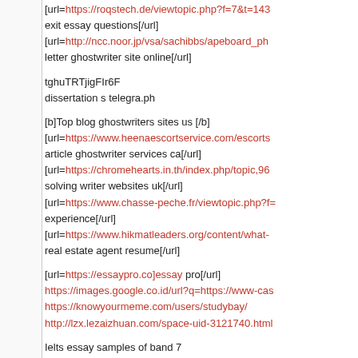[url=https://roqstech.de/viewtopic.php?f=7&t=143 exit essay questions[/url]
[url=http://ncc.noor.jp/vsa/sachibbs/apeboard_ph letter ghostwriter site online[/url]
tghuTRTjigFIr6F
dissertation s telegra.ph
[b]Top blog ghostwriters sites us [/b]
[url=https://www.heenaescortservice.com/escorts article ghostwriter services ca[/url]
[url=https://chromehearts.in.th/index.php/topic,96 solving writer websites uk[/url]
[url=https://www.chasse-peche.fr/viewtopic.php?f= experience[/url]
[url=https://www.hikmatleaders.org/content/what- real estate agent resume[/url]
[url=https://essaypro.co]essay pro[/url]
https://images.google.co.id/url?q=https://www-cas
https://knowyourmeme.com/users/studybay/
http://lzx.lezaizhuan.com/space-uid-3121740.html
Ielts essay samples of band 7
Intermediate 2 maths past papers 2004